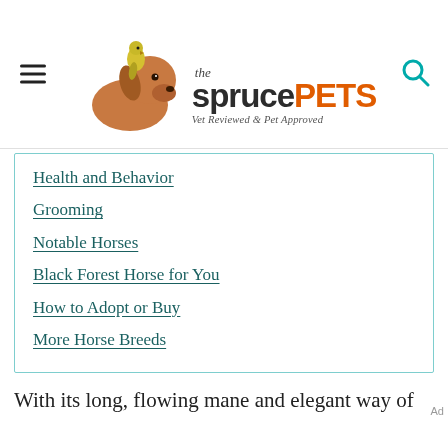the spruce PETS — Vet Reviewed & Pet Approved
Health and Behavior
Grooming
Notable Horses
Black Forest Horse for You
How to Adopt or Buy
More Horse Breeds
With its long, flowing mane and elegant way of